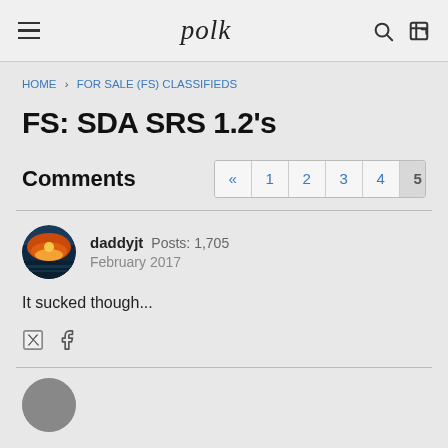polk
HOME › FOR SALE (FS) CLASSIFIEDS
FS: SDA SRS 1.2's
Comments
daddyjt  Posts: 1,705
February 2017
It sucked though...